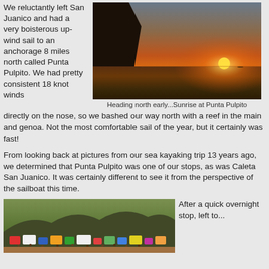We reluctantly left San Juanico and had a very boisterous upwind sail to an anchorage 8 miles north called Punta Pulpito. We had pretty consistent 18 knot winds
[Figure (photo): Sunset/sunrise photo over the Sea of Cortez with a dark rocky cliff silhouette on the left and orange sky with sun on the horizon]
Heading north early...Sunrise at Punta Pulpito
directly on the nose, so we bashed our way north with a reef in the main and genoa. Not the most comfortable sail of the year, but it certainly was fast!
From looking back at pictures from our sea kayaking trip 13 years ago, we determined that Punta Pulpito was one of our stops, as was Caleta San Juanico. It was certainly different to see it from the perspective of the sailboat this time.
[Figure (photo): A colorful beach/camping scene with tents and people gathered near the water with rocky hills in the background]
After a quick overnight stop, left to...